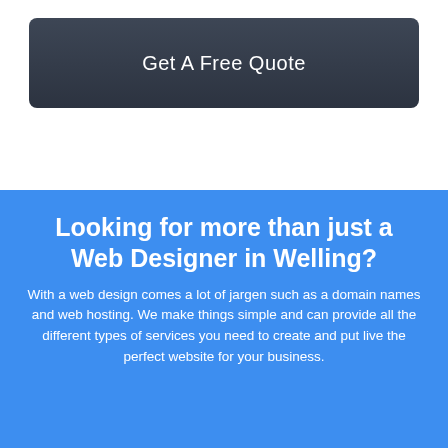Get A Free Quote
Looking for more than just a Web Designer in Welling?
With a web design comes a lot of jargen such as a domain names and web hosting. We make things simple and can provide all the different types of services you need to create and put live the perfect website for your business.